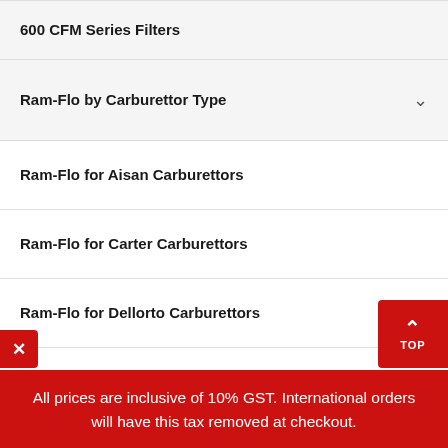600 CFM Series Filters
Ram-Flo by Carburettor Type
Ram-Flo for Aisan Carburettors
Ram-Flo for Carter Carburettors
Ram-Flo for Dellorto Carburettors
Ram-Flo for Hitachi Carburettors
Ram-Flo for Holley Carburettors
Ram-Flo for Mikuni Carburettors
All prices are inclusive of 10% GST. International orders will have this tax removed at checkout.